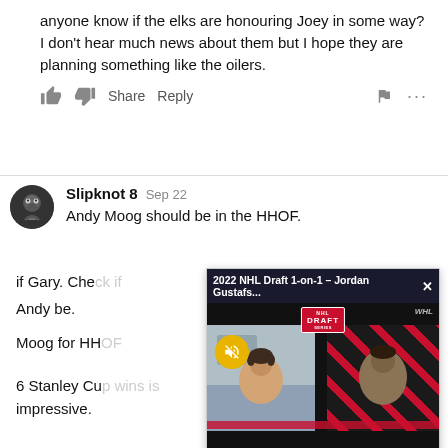anyone know if the elks are honouring Joey in some way? I don’t hear much news about them but I hope they are planning something like the oilers.
Share  Reply
Slipknot 8  Sep 22
Andy Moog should be in the HHOF.
if Gary. Che... Andy be.
[Figure (screenshot): Video overlay showing '2022 NHL Draft 1-on-1 – Jordan Gustafs...' with two people on video call. Bottom labels: JORDAN GUSTAFSON and CHRIS WAHL. WHL branding visible.]
Moog for HH...
6 Stanley Cu... impressive.